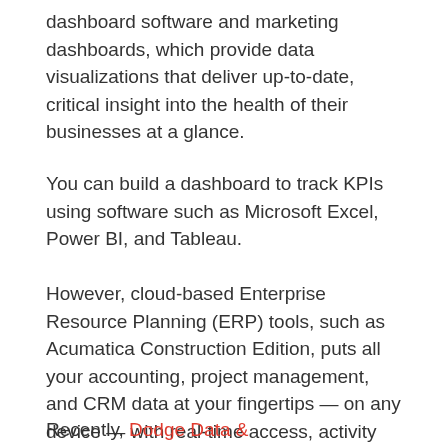dashboard software and marketing dashboards, which provide data visualizations that deliver up-to-date, critical insight into the health of their businesses at a glance.
You can build a dashboard to track KPIs using software such as Microsoft Excel, Power BI, and Tableau.
However, cloud-based Enterprise Resource Planning (ERP) tools, such as Acumatica Construction Edition, puts all your accounting, project management, and CRM data at your fingertips — on any device — with real-time access, activity recording, and more.
Recently, Dodge Data &